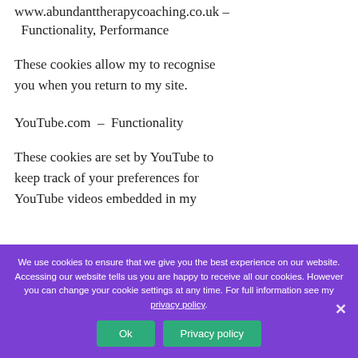www.abundanttherapycoaching.co.uk – Functionality, Performance
These cookies allow my to recognise you when you return to my site.
YouTube.com  –  Functionality
These cookies are set by YouTube to keep track of your preferences for YouTube videos embedded in my
We use cookies to ensure that we give you the best experience on our website. Accessing our website tells us you are happy to receive all our cookies. However you can change your cookie settings at any time. For full information see my privacy policy.
Ok
Privacy policy